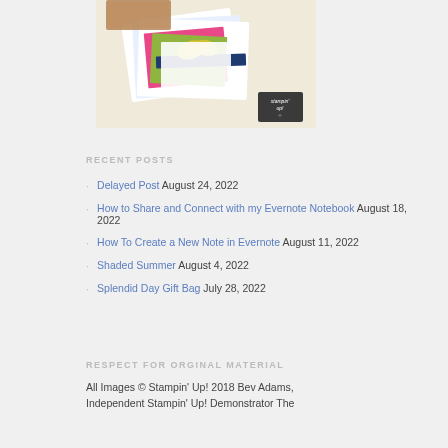[Figure (photo): Photo of Stampin Up craft supplies and cards with a dark badge logo in bottom right]
RECENT POSTS
Delayed Post August 24, 2022
How to Share and Connect with my Evernote Notebook August 18, 2022
How To Create a New Note in Evernote August 11, 2022
Shaded Summer August 4, 2022
Splendid Day Gift Bag July 28, 2022
RESPECT FOR ORGINAL MATERIAL
All Images © Stampin' Up! 2018 Bev Adams, Independent Stampin' Up! Demonstrator The